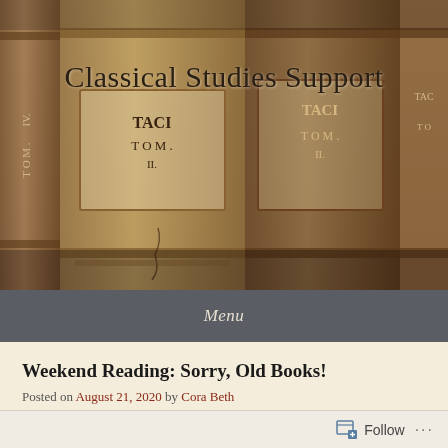[Figure (photo): Header image of old leather-bound books on a shelf, showing spines with text 'TACI', 'TOM.', 'IV.' visible, in sepia/warm tones]
Classical Studies Support
Menu
Weekend Reading: Sorry, Old Books!
Posted on August 21, 2020 by Cora Beth
Follow ...